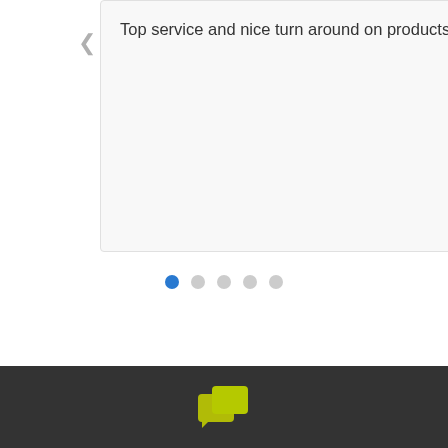Top service and nice turn around on products ordered.
[Figure (other): Carousel navigation dots: 5 dots with the first one filled blue (active) and the remaining four in light grey]
[Figure (logo): Company logo made of two overlapping chat bubble squares in yellow-green color, partially visible in footer]